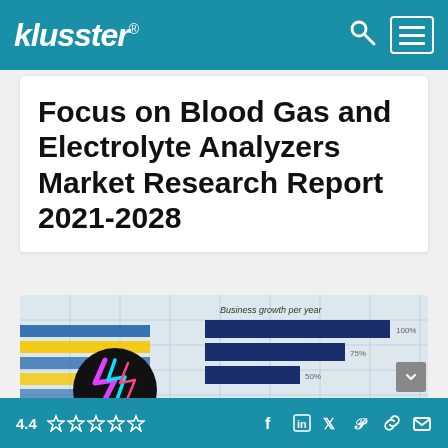klusster®
Focus on Blood Gas and Electrolyte Analyzers Market Research Report 2021-2028
[Figure (photo): A business growth chart photograph showing bar charts labeled 'Business growth per year' with horizontal bars at 100%, 75%, 50% levels, alongside a decorative neon lightning bolt graphic on a dark background, and stripe patterns in blue and yellow.]
4.4 ☆☆☆☆☆